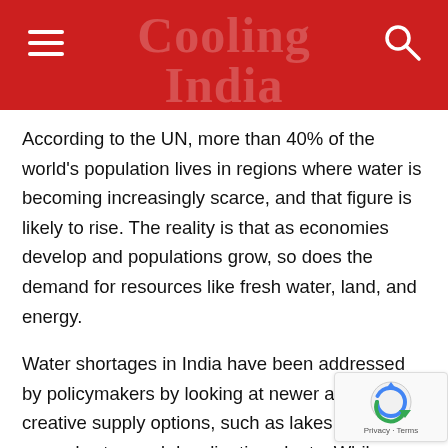Cooling India — India's foremost Monthly dedicated to the growth of HVACR Industry
According to the UN, more than 40% of the world's population lives in regions where water is becoming increasingly scarce, and that figure is likely to rise. The reality is that as economies develop and populations grow, so does the demand for resources like fresh water, land, and energy.
Water shortages in India have been addressed by policymakers by looking at newer and more creative supply options, such as lakes, groundwater, and desalination plants. While these solutions must be part of a plan to tackle critical water crises, the first step should be to look at simple solutions that can help us save water.
Around 30% of current water losses around the globe caused by leaky pipes, which underscores the need to limit